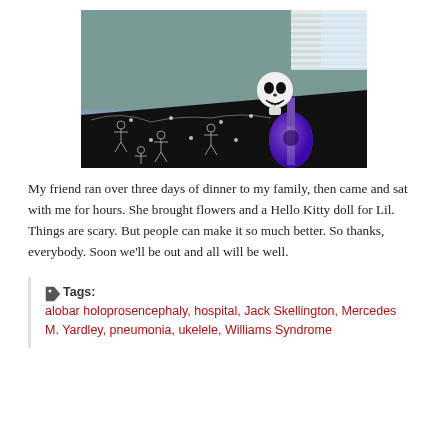[Figure (photo): A Jack Skellington stuffed doll resting on a black skeleton-patterned blanket with string lights, alongside a small ukulele, on a bed near a window with blinds.]
My friend ran over three days of dinner to my family, then came and sat with me for hours. She brought flowers and a Hello Kitty doll for Lil. Things are scary. But people can make it so much better. So thanks, everybody. Soon we'll be out and all will be well.
Tags: alobar holoprosencephaly, hospital, Jack Skellington, Mercedes M. Yardley, pneumonia, ukelele, Williams Syndrome